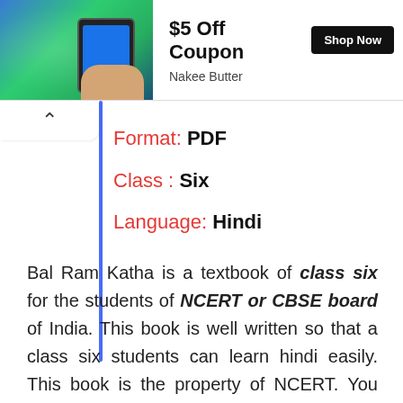[Figure (infographic): Advertisement banner: phone image on left, '$5 Off Coupon' text with 'Shop Now' button, subtitle 'Nakee Butter']
Format: PDF
Class : Six
Language: Hindi
Bal Ram Katha is a textbook of class six for the students of NCERT or CBSE board of India. This book is well written so that a class six students can learn hindi easily. This book is the property of NCERT. You can download this book from the link given below which is official link. This book is free and we do not sell